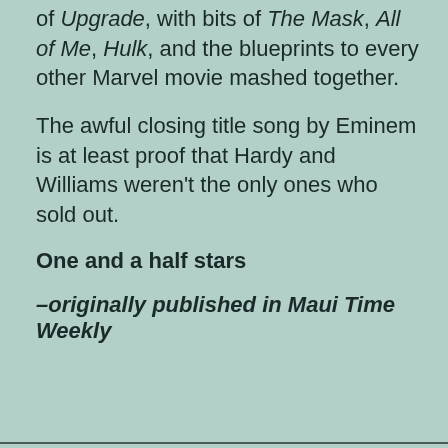of Upgrade, with bits of The Mask, All of Me, Hulk, and the blueprints to every other Marvel movie mashed together.
The awful closing title song by Eminem is at least proof that Hardy and Williams weren't the only ones who sold out.
One and a half stars
–originally published in Maui Time Weekly